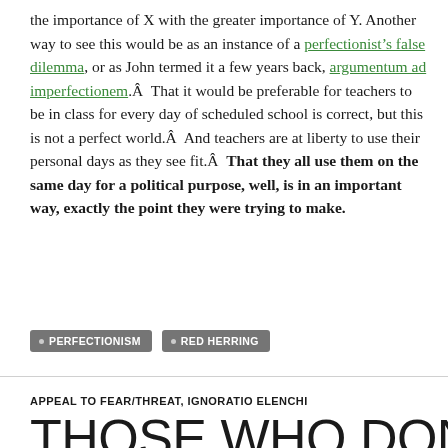the importance of X with the greater importance of Y. Another way to see this would be as an instance of a perfectionist’s false dilemma, or as John termed it a few years back, argumentum ad imperfectionem.Â  That it would be preferable for teachers to be in class for every day of scheduled school is correct, but this is not a perfect world.Â  And teachers are at liberty to use their personal days as they see fit.Â  That they all use them on the same day for a political purpose, well, is in an important way, exactly the point they were trying to make.
PERFECTIONISM
RED HERRING
APPEAL TO FEAR/THREAT, IGNORATIO ELENCHI
THOSE WHO DON’T KNOW